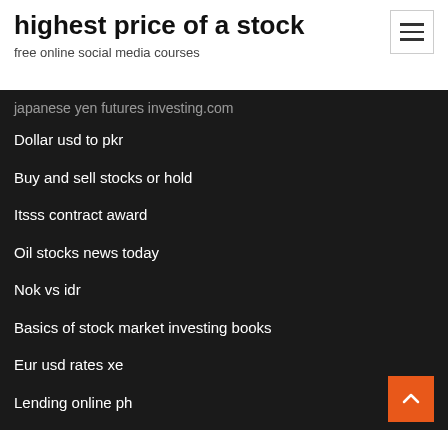highest price of a stock
free online social media courses
japanese yen futures investing.com
Dollar usd to pkr
Buy and sell stocks or hold
Itsss contract award
Oil stocks news today
Nok vs idr
Basics of stock market investing books
Eur usd rates xe
Lending online ph
Rating analyst jobs hyderabad
Bloomberg us treasury floating note bond index